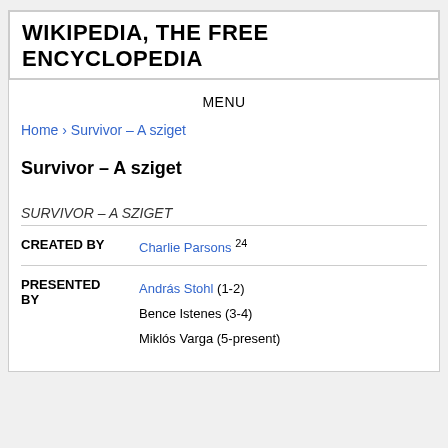WIKIPEDIA, THE FREE ENCYCLOPEDIA
MENU
Home › Survivor – A sziget
Survivor – A sziget
| SURVIVOR – A SZIGET |  |
| CREATED BY | Charlie Parsons 24 |
| PRESENTED BY | András Stohl (1-2)
Bence Istenes (3-4)
Miklós Varga (5-present) |